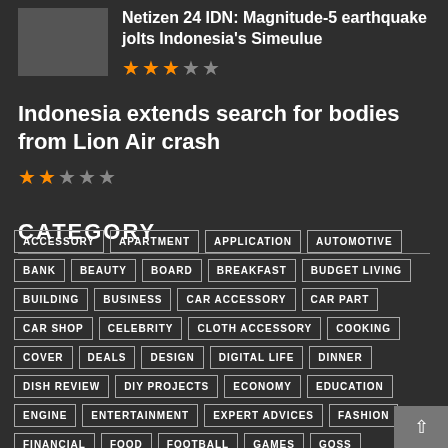[Figure (photo): Thumbnail image for article about earthquake in Indonesia's Simeulue]
Netizen 24 IDN: Magnitude-5 earthquake jolts Indonesia's Simeulue
★★★☆☆ (3 out of 5 stars rating)
Indonesia extends search for bodies from Lion Air crash
★★☆☆☆ (2 out of 5 stars rating)
CATEGORY
ACCESSORY
APARTMENT
APPLICATION
AUTOMOTIVE
BANK
BEAUTY
BOARD
BREAKFAST
BUDGET LIVING
BUILDING
BUSINESS
CAR ACCESSORY
CAR PART
CAR SHOP
CELEBRITY
CLOTH ACCESSORY
COOKING
COVER
DEALS
DESIGN
DIGITAL LIFE
DINNER
DISH REVIEW
DIY PROJECTS
ECONOMY
EDUCATION
ENGINE
ENTERTAINMENT
EXPERT ADVICES
FASHION
FINANCIAL
FOOD
FOOTBALL
GAMES
GOSS...